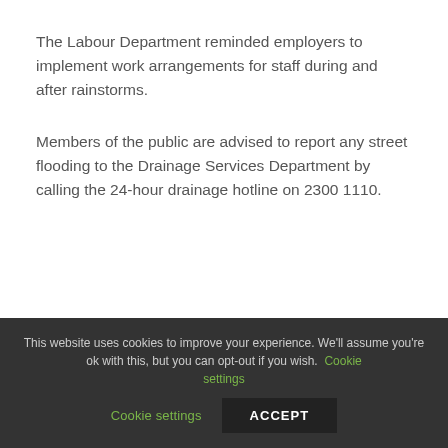The Labour Department reminded employers to implement work arrangements for staff during and after rainstorms.
Members of the public are advised to report any street flooding to the Drainage Services Department by calling the 24-hour drainage hotline on 2300 1110.
This website uses cookies to improve your experience. We'll assume you're ok with this, but you can opt-out if you wish. Cookie settings ACCEPT